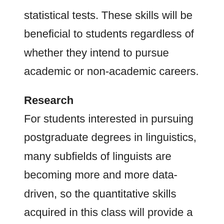statistical tests. These skills will be beneficial to students regardless of whether they intend to pursue academic or non-academic careers.
Research
For students interested in pursuing postgraduate degrees in linguistics, many subfields of linguists are becoming more and more data-driven, so the quantitative skills acquired in this class will provide a good foundation, making it easier for students to start their own research.
Other
For students intending to pursue non-academic careers, quantitative skills will be a valuable asset as